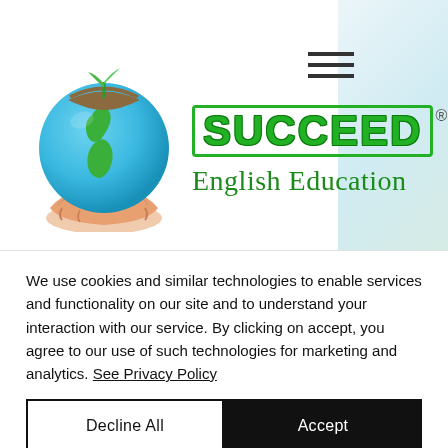[Figure (logo): Succeed English Education logo: a globe with New Zealand map held by a hand, with green plant sprout on top, beside the text SUCCEED in green with registered trademark symbol and 'English Education' below]
We use cookies and similar technologies to enable services and functionality on our site and to understand your interaction with our service. By clicking on accept, you agree to our use of such technologies for marketing and analytics. See Privacy Policy
Decline All
Accept
Cookie Settings